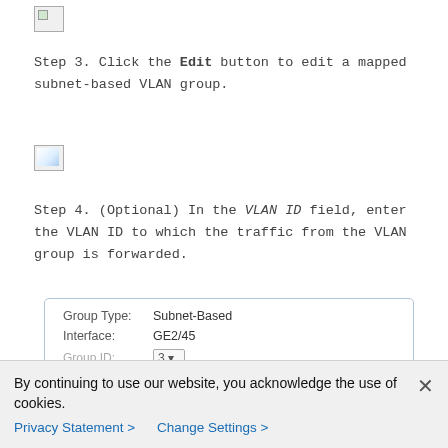[Figure (screenshot): Small broken/placeholder image icon at top]
Step 3. Click the Edit button to edit a mapped subnet-based VLAN group.
[Figure (screenshot): Small broken/placeholder image icon in middle]
Step 4. (Optional) In the VLAN ID field, enter the VLAN ID to which the traffic from the VLAN group is forwarded.
[Figure (screenshot): UI panel showing Group Type: Subnet-Based, Interface: GE2/45, Group ID: (dropdown, partially visible)]
By continuing to use our website, you acknowledge the use of cookies.
Privacy Statement > Change Settings >